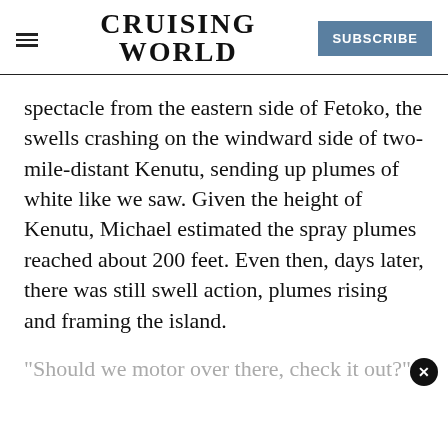CRUISING WORLD | SUBSCRIBE
spectacle from the eastern side of Fetoko, the swells crashing on the windward side of two-mile-distant Kenutu, sending up plumes of white like we saw. Given the height of Kenutu, Michael estimated the spray plumes reached about 200 feet. Even then, days later, there was still swell action, plumes rising and framing the island.
“Should we motor over there, check it out?”